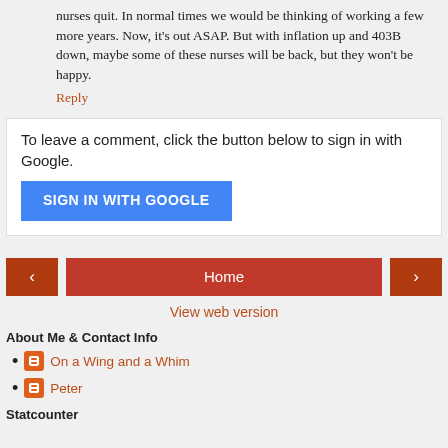nurses quit. In normal times we would be thinking of working a few more years. Now, it's out ASAP. But with inflation up and 403B down, maybe some of these nurses will be back, but they won't be happy.
Reply
To leave a comment, click the button below to sign in with Google.
SIGN IN WITH GOOGLE
Home
View web version
About Me & Contact Info
On a Wing and a Whim
Peter
Statcounter